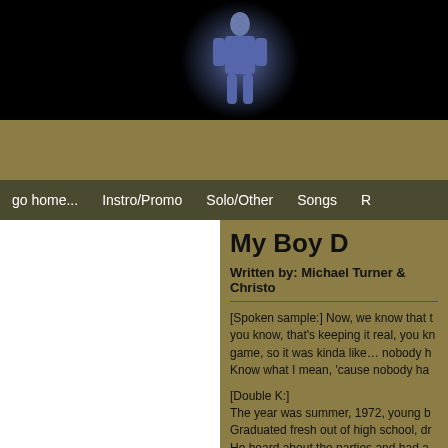[Figure (photo): Website header with black background and a performer figure in blue on stage]
go home...   Instro/Promo   Solo/Other   Songs   R
My Boy D
Written by: Michael Turner & Christo
[Spoken sample:] Now, we know that t you know, that's keeping it real, you kn game, so it was kinda like... nobody h Know what I mean, 'cause nobody ha
[Double K:] The year was summer, 1972, young b Graduated fresh out of high school, dr He heard about the parties and had a But wasn't aware of fees, tuition, book Scholarships not rolling in, and Mama Daddy left home years ago, owed mo So the boy went for dolo, and raised h He took money from the wealthy, put i Anyway, he got a letter in the mail one Thought it was his ticket, opened it, he But damn! No assistance from the go